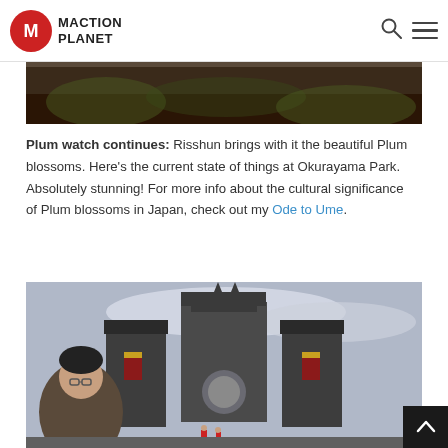Maction Planet
[Figure (photo): Partial top portion of an outdoor photo, dark tones]
Plum watch continues: Risshun brings with it the beautiful Plum blossoms. Here's the current state of things at Okurayama Park. Absolutely stunning! For more info about the cultural significance of Plum blossoms in Japan, check out my Ode to Ume.
[Figure (photo): Person taking a selfie in front of a large fantasy castle structure with horned gargoyle decorations, banners, and towers under a cloudy sky]